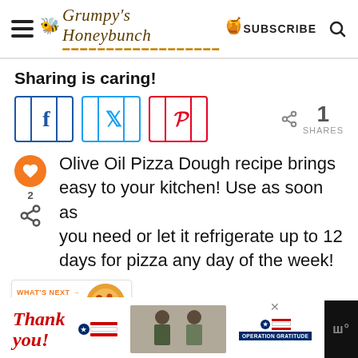[Figure (logo): Grumpy's Honeybunch blog header with hamburger menu, logo, SUBSCRIBE text, and search icon]
Sharing is caring!
[Figure (infographic): Social share buttons: Facebook (blue), Twitter (cyan), Pinterest (red), with share count showing 1 SHARES]
Olive Oil Pizza Dough recipe brings easy to your kitchen! Use as soon as you need or let it refrigerate up to 12 days for pizza any day of the week!
[Figure (infographic): Floating sidebar with heart icon (orange circle) showing 2 count, and share icon. What's Next banner: One Dish Pepperoni... with pizza thumbnail.]
[Figure (infographic): Ad banner at bottom: Thank you text with American flag imagery and Operation Gratitude logo on dark background]